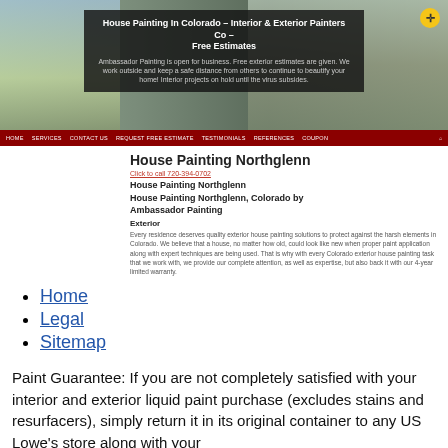[Figure (screenshot): Hero banner of a house painting website showing a house exterior photo with a dark overlay containing the site title and description]
House Painting In Colorado – Interior & Exterior Painters Co – Free Estimates
Ambassador Painting is open for business. Free exterior estimates are given. We work outside and keep a safe distance from others to continue to beautify your home! Interior projects on hold until the virus subsides.
[Figure (screenshot): Dark red navigation bar with menu items: HOME, SERVICES, CONTACT US, REQUEST FREE ESTIMATE, TESTIMONIALS, REFERENCES, COUPON, and a search icon]
House Painting Northglenn
Click to call 720-394-0702
House Painting Northglenn
House Painting Northglenn, Colorado by Ambassador Painting
Exterior
Every residence deserves quality exterior house painting solutions to protect against the harsh elements in Colorado. We believe that a house, no matter how old, could look like new when proper paint application along with expert techniques are being used. That is why with every Colorado exterior house painting task that we work with, we provide our complete attention, as well as expertise, but also back it with our 4-year limited warranty.
Home
Legal
Sitemap
Paint Guarantee: If you are not completely satisfied with your interior and exterior liquid paint purchase (excludes stains and resurfacers), simply return it in its original container to any US Lowe's store along with your